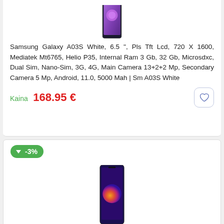[Figure (photo): Samsung Galaxy A03S White smartphone image cropped at top]
Samsung Galaxy A03S White, 6.5 '', Pls Tft Lcd, 720 X 1600, Mediatek Mt6765, Helio P35, Internal Ram 3 Gb, 32 Gb, Microsdxc, Dual Sim, Nano-Sim, 3G, 4G, Main Camera 13+2+2 Mp, Secondary Camera 5 Mp, Android, 11.0, 5000 Mah | Sm A03S White
Kaina 168.95 €
[Figure (photo): Samsung Galaxy M12 Blue smartphone image]
Samsung Galaxy M12 Blue, 6.5 '', Pls Tft Lcd, 720 X 1600, Exynos 850, Internal Ram 4 Gb, 64 Gb, Microsdxc, Dual Sim, Nano-Sim, 3G, 4G, Main Camera 48.0 + 8.0 + 2.0 + 2.0 Mp,